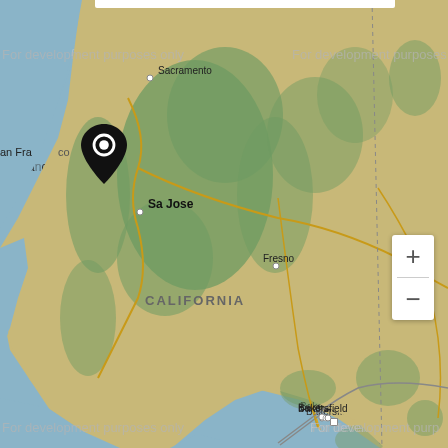[Figure (map): Interactive map showing California and surrounding states (Nevada, parts of Utah/Arizona), with two location pins: one near San Francisco/San Jose area and one near Los Angeles. Map includes city labels: Sacramento, San Francisco, San Jose, Fresno, Bakersfield, Los Angeles, Long Beach, Anaheim, San Diego, Tijuana, Mexicali, Las Vegas, St. George, and regional labels: CALIFORNIA, Death Valley National Park, HUALAPAI RESERVA. Multiple 'For development purposes only' watermarks visible. Zoom controls (+/-) visible in bottom right.]